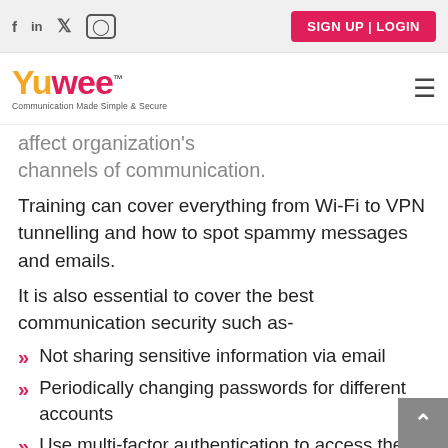SIGN UP | LOGIN
[Figure (logo): Yuwee logo with text 'Communication Made Simple & Secure']
channels of communication.
Training can cover everything from Wi-Fi to VPN tunnelling and how to spot spammy messages and emails.
It is also essential to cover the best communication security such as-
Not sharing sensitive information via email
Periodically changing passwords for different accounts
Use multi-factor authentication to access their